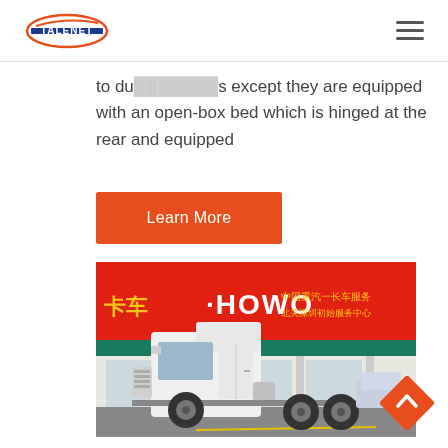TALENET
to du... ...s except they are equipped with an open-box bed which is hinged at the rear and equipped
Learn More
[Figure (photo): A white HOWO heavy-duty truck cab parked in front of a red HOWO dealership building with Chinese text signage.]
[Figure (other): Orange diamond-shaped back-to-top button with upward chevron arrow icon.]